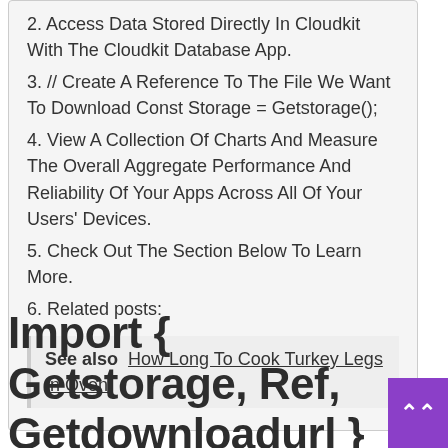2. Access Data Stored Directly In Cloudkit With The Cloudkit Database App.
3. // Create A Reference To The File We Want To Download Const Storage = Getstorage();
4. View A Collection Of Charts And Measure The Overall Aggregate Performance And Reliability Of Your Apps Across All Of Your Users' Devices.
5. Check Out The Section Below To Learn More.
6. Related posts:
See also  How Long To Cook Turkey Legs In Oven
Import { Getstorage, Ref, Getdownloadurl } From Firebase/Storage;